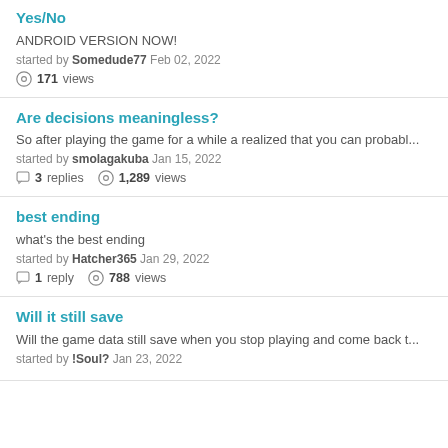Yes/No
ANDROID VERSION NOW!
started by Somedude77 Feb 02, 2022
171 views
Are decisions meaningless?
So after playing the game for a while a realized that you can probabl...
started by smolagakuba Jan 15, 2022
3 replies   1,289 views
best ending
what's the best ending
started by Hatcher365 Jan 29, 2022
1 reply   788 views
Will it still save
Will the game data still save when you stop playing and come back t...
started by !Soul? Jan 23, 2022